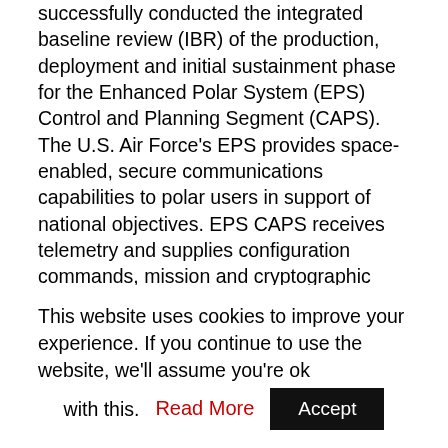successfully conducted the integrated baseline review (IBR) of the production, deployment and initial sustainment phase for the Enhanced Polar System (EPS) Control and Planning Segment (CAPS). The U.S. Air Force's EPS provides space-enabled, secure communications capabilities to polar users in support of national objectives. EPS CAPS receives telemetry and supplies configuration commands, mission and cryptographic planning for the EPS payload. The Military Satellite Communications Systems (MILSATCOM) directorate at the Air Force's Space and Missile Systems Center at Los Angeles Air Force Base, California, is acquiring EPS and EPS CAPS. The IBR assessed resources allocated to EPS
This website uses cookies to improve your experience. If you continue to use the website, we'll assume you're ok with this. Read More Accept